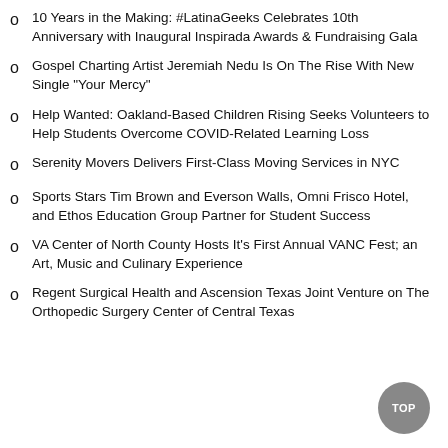10 Years in the Making: #LatinaGeeks Celebrates 10th Anniversary with Inaugural Inspirada Awards & Fundraising Gala
Gospel Charting Artist Jeremiah Nedu Is On The Rise With New Single "Your Mercy"
Help Wanted: Oakland-Based Children Rising Seeks Volunteers to Help Students Overcome COVID-Related Learning Loss
Serenity Movers Delivers First-Class Moving Services in NYC
Sports Stars Tim Brown and Everson Walls, Omni Frisco Hotel, and Ethos Education Group Partner for Student Success
VA Center of North County Hosts It's First Annual VANC Fest; an Art, Music and Culinary Experience
Regent Surgical Health and Ascension Texas Joint Venture on The Orthopedic Surgery Center of Central Texas